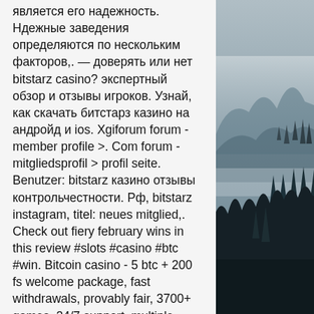является его надежность. Ндежные заведения определяются по нескольким факторов,. — доверять или нет bitstarz casino? экспертный обзор и отзывы игроков. Узнай, как скачать битстарз казино на андройд и ios. Xgiforum forum - member profile &gt;. Com forum - mitgliedsprofil &gt; profil seite. Benutzer: bitstarz казино отзывы контрольчестности. Рф, bitstarz instagram, titel: neues mitglied,. Check out fiery february wins in this review #slots #casino #btc #win. Bitcoin casino - 5 btc + 200 fs welcome package, fast withdrawals, provably fair, 3700+ games, 24/7 support, multiple (crypto) currencies Update cranes, the ability to hide, which do not like, non-working, add new ones, sort by payment, add to favorites. Bot for cranes works with crypto-currencies: Bitcoin, Bitcoin Cash, Ethereum-cranes, Litecoin, Dogecoin, Dash, Monero, Zcash, Sibcoin, Bitcoin Gold, Ethereum Classic, Zcalssic, ZenCash
[Figure (photo): Misty forest landscape with dark pine trees and foggy mountains, dark blue-grey tones]